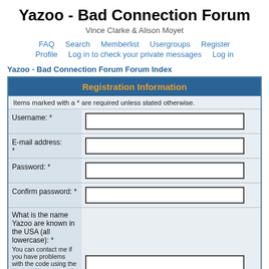Yazoo - Bad Connection Forum
Vince Clarke & Alison Moyet
FAQ  Search  Memberlist  Usergroups  Register  Profile  Log in to check your private messages  Log in
Yazoo - Bad Connection Forum Forum Index
| Field | Input |
| --- | --- |
| Registration Information |  |
| Items marked with a * are required unless stated otherwise. |  |
| Username: * |  |
| E-mail address: * |  |
| Password: * |  |
| Confirm password: * |  |
| What is the name Yazoo are known in the USA (all lowercase): *
You can contact me if you have problems with the code using the contact form. |  |